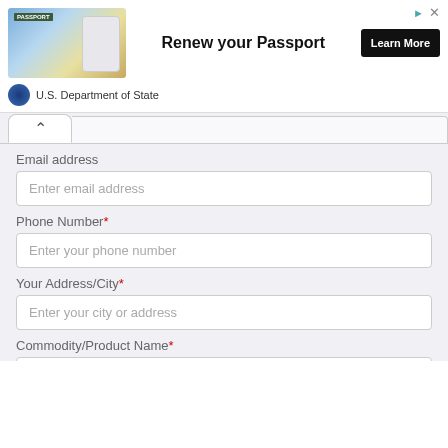[Figure (infographic): U.S. Department of State advertisement banner showing a passport and smartphone image with text 'Renew your Passport' and a 'Learn More' button]
Email address
Enter email address
Phone Number*
Enter your phone number
Your Address/City*
Enter your city or address
Commodity/Product Name*
Enter commodity/product